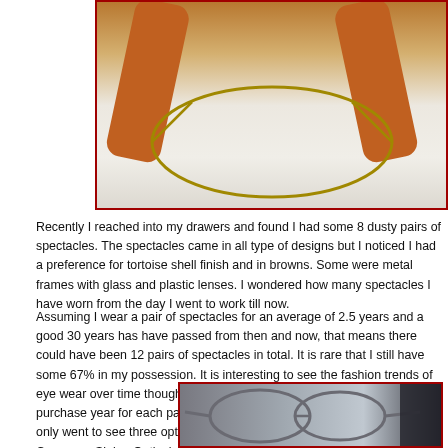[Figure (photo): Close-up photo of vintage spectacles/eyeglasses with tortoise shell brown arms, metal frame, viewed from above against a light background. Image is bordered with a dark red/maroon border.]
Recently I reached into my drawers and found I had some 8 dusty pairs of spectacles. The spectacles came in all type of designs but I noticed I had a preference for tortoise shell finish and in browns. Some were metal frames with glass and plastic lenses. I wondered how many spectacles I have worn from the day I went to work till now.
Assuming I wear a pair of spectacles for an average of 2.5 years and a good 30 years has have passed from then and now, that means there could have been 12 pairs of spectacles in total. It is rare that I still have some 67% in my possession. It is interesting to see the fashion trends of eye wear over time though my spectacles. I wish I knew the actual purchase year for each pair. Checking the spectacle cases, I found that I only went to see three opticians in the same period; CC Chui Optical Company, Siglap Optical and Pavilion Optical because they were closed to my place of work or my residence.
[Figure (photo): Photo of a pair of silver/grey metal frame spectacles, partially visible, with a dark background on the right side. Image is bordered with a dark red/maroon border.]